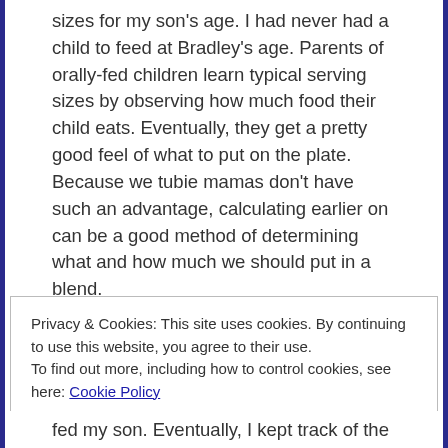sizes for my son's age. I had never had a child to feed at Bradley's age. Parents of orally-fed children learn typical serving sizes by observing how much food their child eats. Eventually, they get a pretty good feel of what to put on the plate. Because we tubie mamas don't have such an advantage, calculating earlier on can be a good method of determining what and how much we should put in a blend.
Privacy & Cookies: This site uses cookies. By continuing to use this website, you agree to their use.
To find out more, including how to control cookies, see here: Cookie Policy
fed my son. Eventually, I kept track of the